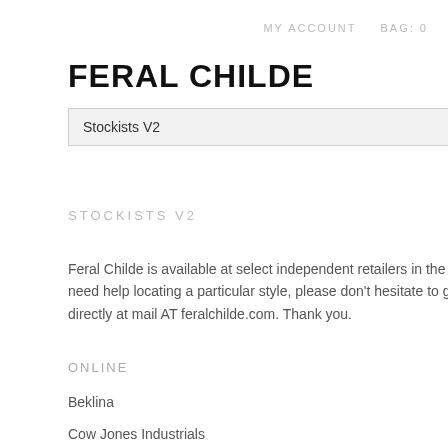MY ACCOUNT   BAG: 0
FERAL CHILDE
[Figure (screenshot): Dropdown menu selector showing 'Stockists V2' with a downward chevron arrow on the right, styled with a light gray background and border]
STOCKISTS V2
Feral Childe is available at select independent retailers in the US and abroad. If you need help locating a particular style, please don't hesitate to get in touch with us directly at mail AT feralchilde.com. Thank you.
ONLINE
Beklina
Cow Jones Industrials